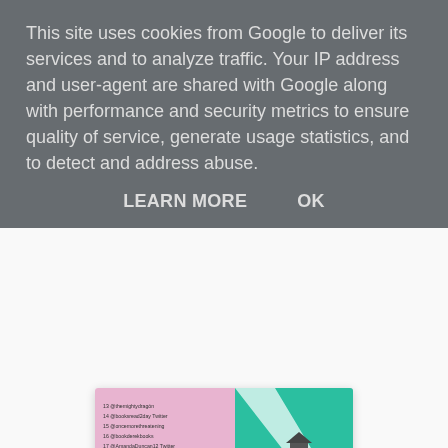This site uses cookies from Google to deliver its services and to analyze traffic. Your IP address and user-agent are shared with Google along with performance and security metrics to ensure quality of service, generate usage statistics, and to detect and address abuse.
LEARN MORE   OK
[Figure (screenshot): A screenshot of a book blog tour graphic for #TheGhostlights, showing a list of blog tour participants numbered 13-24, published by Legend Press. The image has a pink and teal color scheme.]
Michelle Ryles at 00:44
Share
No comments: